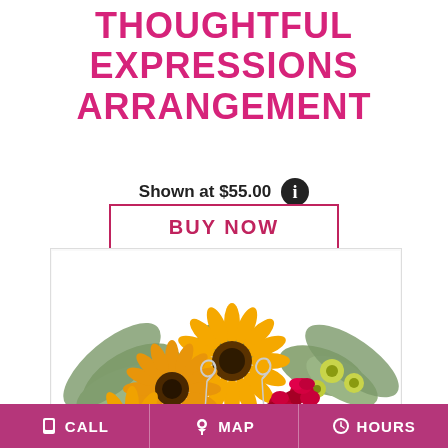THOUGHTFUL EXPRESSIONS ARRANGEMENT
Shown at $55.00
BUY NOW
[Figure (photo): A colorful floral arrangement featuring yellow gerbera daisies, red carnations, yellow-green alstroemeria, and sage/dusty miller foliage with decorative silver spiral picks, displayed in a low arrangement.]
CALL   MAP   HOURS